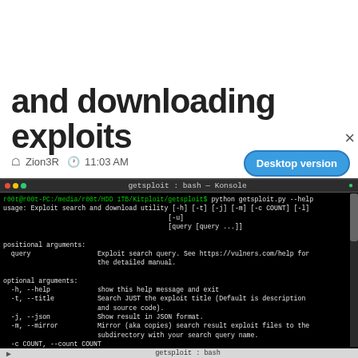and downloading exploits
Zion3R  11:03 AM
Desktop version
[Figure (screenshot): Terminal window (Konsole) showing getsploit.py --help output. Green prompt: r00t@r00t-PC:/media/r00t/HDD 1TB/Kitploit/getsploit$ python getsploit.py --help. Help text shows usage, positional arguments (query), and optional arguments: -h/--help, -t/--title, -j/--json, -m/--mirror, -c COUNT/--count COUNT, -l/--local, -u/--update.]